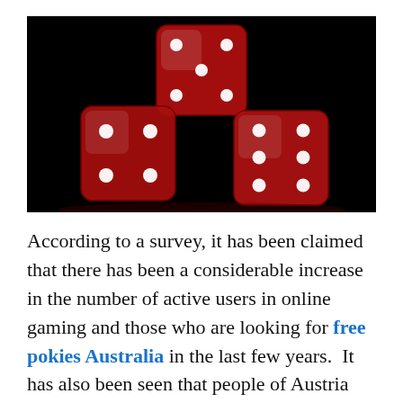[Figure (photo): Three red translucent dice arranged in a pyramid formation against a black background. Two dice are on the bottom row and one die is on top, centered. The dice show white dots (pips) on their visible faces.]
According to a survey, it has been claimed that there has been a considerable increase in the number of active users in online gaming and those who are looking for free pokies Australia in the last few years. It has also been seen that people of Austria and